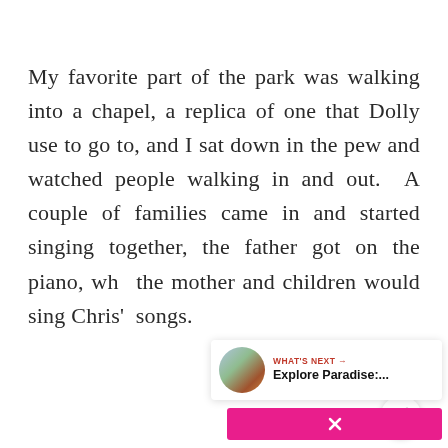My favorite part of the park was walking into a chapel, a replica of one that Dolly use to go to, and I sat down in the pew and watched people walking in and out.  A couple of families came in and started singing together, the father got on the piano, whe the mother and children would sing Chris' songs.
[Figure (screenshot): UI overlay elements: heart/like icon button, share icon button, 'WHAT'S NEXT' panel with thumbnail and text 'Explore Paradise:...' and a pink close button]